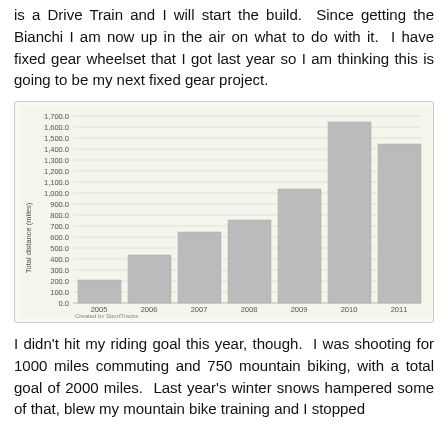is a Drive Train and I will start the build. Since getting the Bianchi I am now up in the air on what to do with it. I have fixed gear wheelset that I got last year so I am thinking this is going to be my next fixed gear project.
[Figure (bar-chart): ]
I didn't hit my riding goal this year, though. I was shooting for 1000 miles commuting and 750 mountain biking, with a total goal of 2000 miles. Last year's winter snows hampered some of that, blew my mountain bike training and I stopped